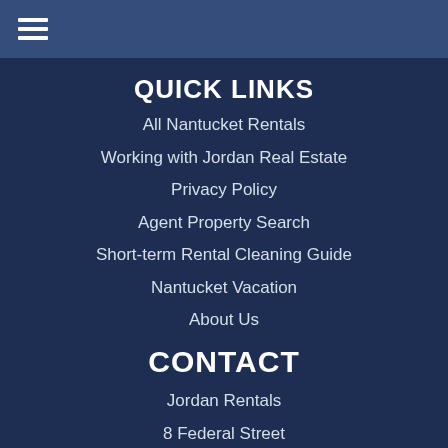≡ (hamburger menu icon)
QUICK LINKS
All Nantucket Rentals
Working with Jordan Real Estate
Privacy Policy
Agent Property Search
Short-term Rental Cleaning Guide
Nantucket Vacation
About Us
CONTACT
Jordan Rentals
8 Federal Street
Nantucket, MA 02554